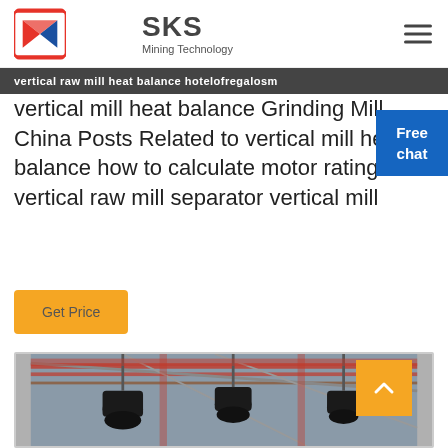SKS Mining Technology
vertical raw mill heat balance hotelofregalosm
vertical mill heat balance Grinding Mill China Posts Related to vertical mill heat balance how to calculate motor rating of a vertical raw mill separator vertical mill
Get Price
[Figure (photo): Industrial mining equipment photo showing large machinery in a factory/industrial setting with overhead crane structures and red metal framework visible in background]